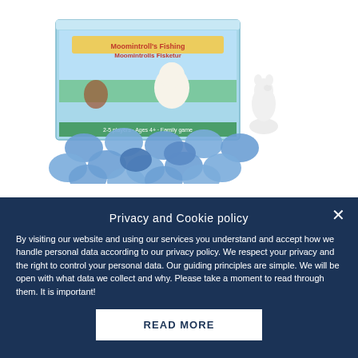[Figure (photo): Moomintroll's Fishing Trip board game box with blue circular game pieces/tokens spread in front and a small white Moomintroll figurine standing to the right of the box.]
Moomintroll's Fishing Trip game
€23.90
Privacy and Cookie policy
By visiting our website and using our services you understand and accept how we handle personal data according to our privacy policy. We respect your privacy and the right to control your personal data. Our guiding principles are simple. We will be open with what data we collect and why. Please take a moment to read through them. It is important!
READ MORE